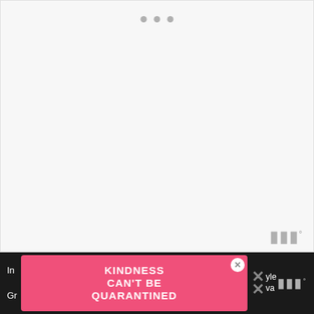[Figure (screenshot): A mostly blank/loading web page area with three gray dots at the top center indicating a loading state, and a watermark logo in the lower right corner.]
[Figure (infographic): Dark bottom bar with partial text on left, a pink advertisement banner reading 'KINDNESS CAN'T BE QUARANTINED' with a close button, and an X icon with logo watermark on the right.]